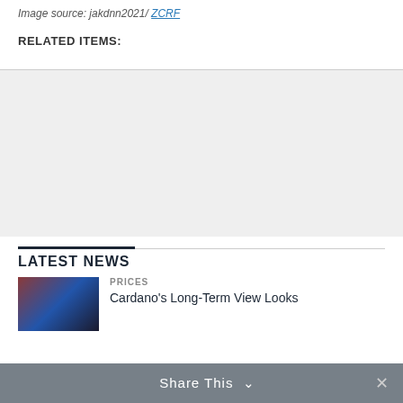Image source: jakdnn2021/ ZCRF
RELATED ITEMS:
[Figure (other): Advertisement placeholder block, light gray background]
LATEST NEWS
[Figure (photo): Thumbnail image with red and blue tones, appears to be a racing or sports photo]
PRICES
Cardano's Long-Term View Looks
Share This